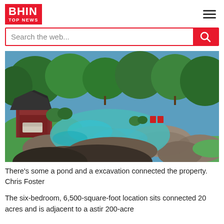BHIN TOP NEWS
[Figure (photo): Outdoor natural swimming pool surrounded by large rocks, green lawn, and lush trees, with a red gazebo/pavilion on the left side in background.]
There's some a pond and a excavation connected the property. Chris Foster
The six-bedroom, 6,500-square-foot location sits connected 20 acres and is adjacent to a astir 200-acre